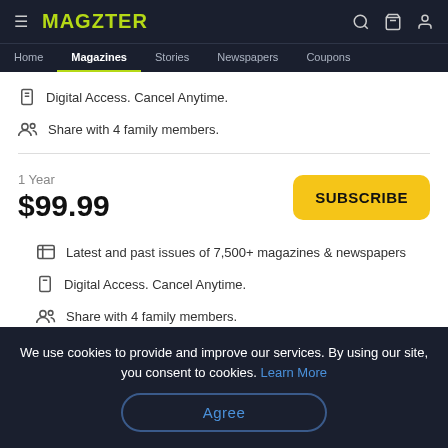MAGZTER — Home | Magazines | Stories | Newspapers | Coupons
Digital Access. Cancel Anytime.
Share with 4 family members.
1 Year
$99.99
SUBSCRIBE
Latest and past issues of 7,500+ magazines & newspapers
Digital Access. Cancel Anytime.
Share with 4 family members.
(Or)
We use cookies to provide and improve our services. By using our site, you consent to cookies. Learn More
Agree